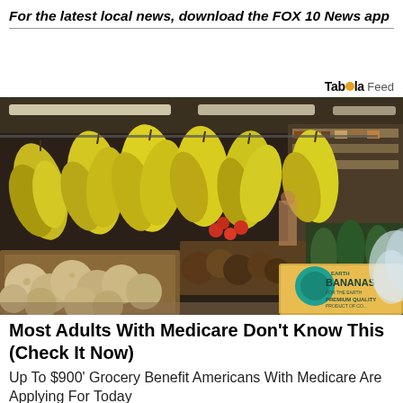For the latest local news, download the FOX 10 News app
Taboola Feed
[Figure (photo): Grocery store produce section showing bananas hanging from display racks, melons and other fruits in bins, with a EARTH BANANAS PREMIUM QUALITY box visible in the foreground]
Most Adults With Medicare Don't Know This (Check It Now)
Up To $900' Grocery Benefit Americans With Medicare Are Applying For Today